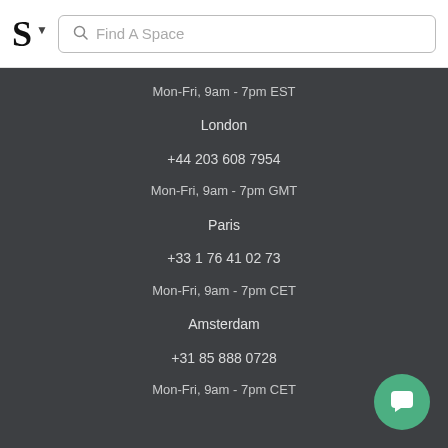S Find A Space
Mon-Fri, 9am - 7pm EST
London
+44 203 608 7954
Mon-Fri, 9am - 7pm GMT
Paris
+33 1 76 41 02 73
Mon-Fri, 9am - 7pm CET
Amsterdam
+31 85 888 0728
Mon-Fri, 9am - 7pm CET